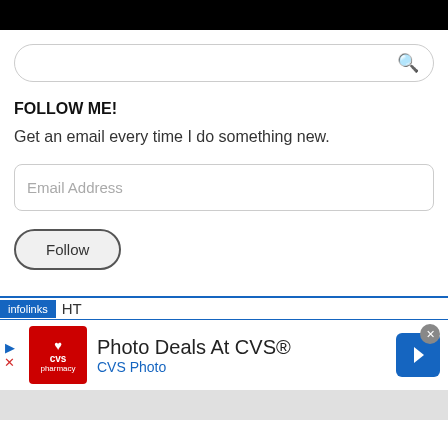[Figure (screenshot): Black navigation bar at the top of the page]
[Figure (screenshot): Search input box with rounded corners and a magnifier icon on the right]
FOLLOW ME!
Get an email every time I do something new.
[Figure (screenshot): Email Address input field with rounded corners]
[Figure (screenshot): Follow button with rounded pill shape and grey border]
[Figure (screenshot): Infolinks advertisement bar showing CVS Photo Deals ad with logo, title 'Photo Deals At CVS®', subtitle 'CVS Photo', and a blue directional arrow icon]